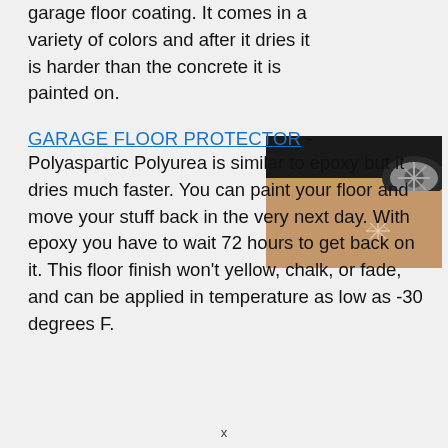garage floor coating. It comes in a variety of colors and after it dries it is harder than the concrete it is painted on.
GARAGE FLOOR PROTECTOR
- Polyaspartic Polyurea is similar to epoxy but it dries much faster. You can paint your floor and move your stuff back in the very next day. With epoxy you have to wait 72 hours to get back on it. This floor finish won't yellow, chalk, or fade, and can be applied in temperature as low as -30 degrees F.
[Figure (photo): Photo of a garage floor with a tan/brown polyaspartic coating, showing part of a car tire and wheel in the upper portion of the image.]